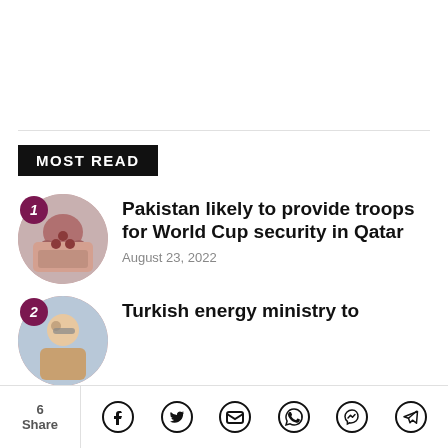MOST READ
Pakistan likely to provide troops for World Cup security in Qatar — August 23, 2022
Turkish energy ministry to
6 Share [Facebook] [Twitter] [Email] [WhatsApp] [Messenger] [Telegram]